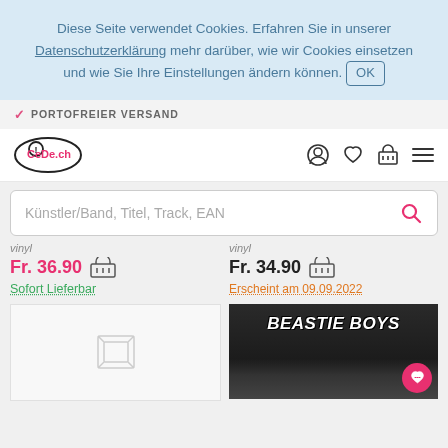Diese Seite verwendet Cookies. Erfahren Sie in unserer Datenschutzerklärung mehr darüber, wie wir Cookies einsetzen und wie Sie Ihre Einstellungen ändern können. OK
✓ PORTOFREIER VERSAND
[Figure (logo): CeDe.ch logo with exclamation mark icon]
Künstler/Band, Titel, Track, EAN
vinyl
Fr. 36.90
Sofort Lieferbar
vinyl
Fr. 34.90
Erscheint am 09.09.2022
[Figure (photo): Partial product image placeholder (left column)]
[Figure (photo): Beastie Boys album cover - black and white photo with BEASTIE BOYS text and pink heart chat button]